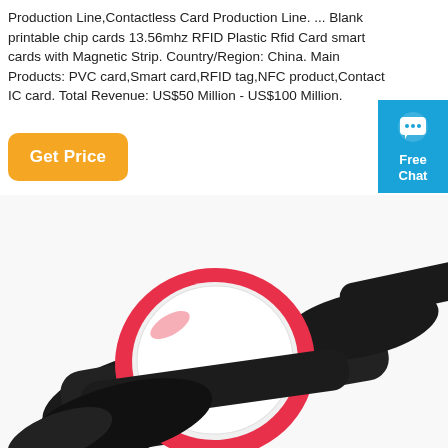Production Line,Contactless Card Production Line. ... Blank printable chip cards 13.56mhz RFID Plastic Rfid Card smart cards with Magnetic Strip. Country/Region: China. Main Products: PVC card,Smart card,RFID tag,NFC product,Contact IC card. Total Revenue: US$50 Million - US$100 Million.
[Figure (other): Orange rounded button with white text saying 'Get Price']
[Figure (other): Blue 'Free Chat' widget with chat bubble icon in top right corner]
[Figure (photo): Photo of a red RFID wristband with a round white disc and black fabric strap, viewed from above at an angle]